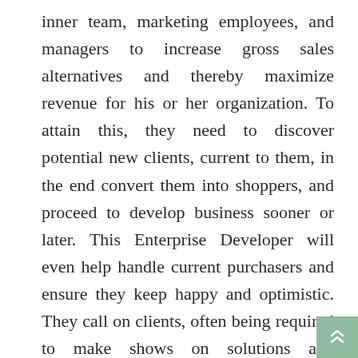inner team, marketing employees, and managers to increase gross sales alternatives and thereby maximize revenue for his or her organization. To attain this, they need to discover potential new clients, current to them, in the end convert them into shoppers, and proceed to develop business sooner or later. This Enterprise Developer will even help handle current purchasers and ensure they keep happy and optimistic. They call on clients, often being required to make shows on solutions and companies that meet or predict their clients' future wants.